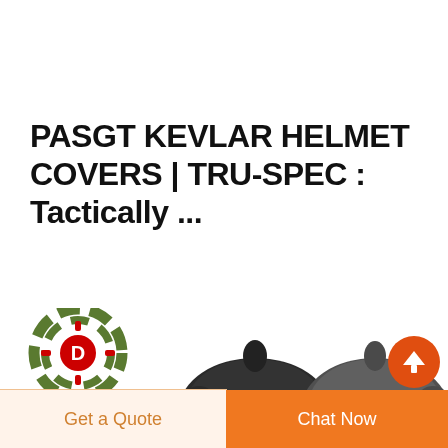PASGT KEVLAR HELMET COVERS | TRU-SPEC : Tactically ...
[Figure (logo): DEEKON logo with circular camouflage target icon in green and red, with red letter D in center, and bold red DEEKON text below]
[Figure (photo): Two dark grey/black PASGT kevlar helmet covers shown from the rear, cropped at bottom of page]
Get a Quote
Chat Now